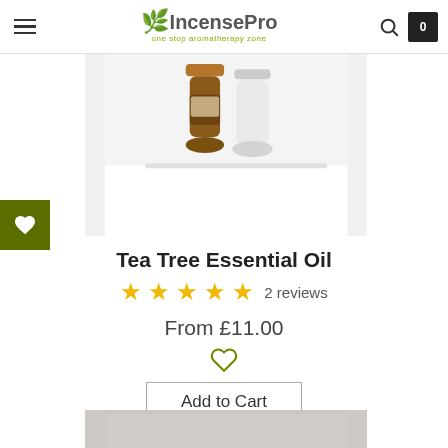Incense Pro — one stop aromatherapy zone
[Figure (photo): Product photo of Tea Tree Essential Oil bottles — a dark amber glass bottle and a clear glass bottle on a light background]
Tea Tree Essential Oil
★★★★★ 2 reviews
From £11.00
Add to Cart
[Figure (photo): Bottom portion of a product lifestyle image with grey/beige tones]